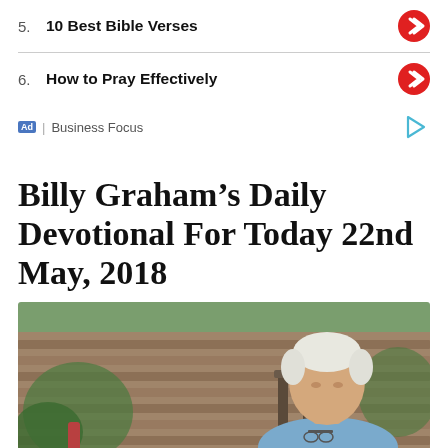5. 10 Best Bible Verses
6. How to Pray Effectively
Ad | Business Focus
Billy Graham’s Daily Devotional For Today 22nd May, 2018
[Figure (photo): An elderly man with white hair sitting outdoors in a wooden chair, holding glasses, with greenery and a log wall in the background.]